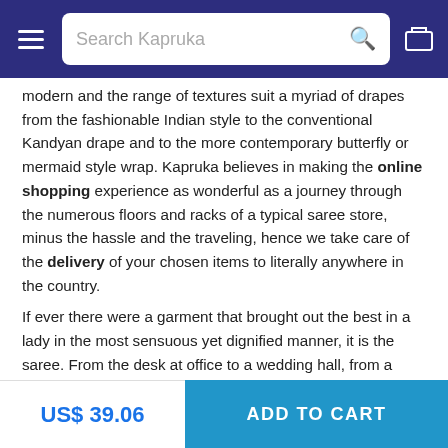Search Kapruka
modern and the range of textures suit a myriad of drapes from the fashionable Indian style to the conventional Kandyan drape and to the more contemporary butterfly or mermaid style wrap. Kapruka believes in making the online shopping experience as wonderful as a journey through the numerous floors and racks of a typical saree store, minus the hassle and the traveling, hence we take care of the delivery of your chosen items to literally anywhere in the country.
If ever there were a garment that brought out the best in a lady in the most sensuous yet dignified manner, it is the saree. From the desk at office to a wedding hall, from a meeting in the boardroom to a party, this all enduring garment remains dressy and classy. The uses are endless, the occasions are numerous, yet the online price that you would have to pay Kapruka for these exquisite lengths of woven fabric is probably less than what you would spend at an actual saree shop. Come discover the glamour of life in a saree or gift one and add some colour to someone's day.
Copyright 2000-2022 Kapruka.com Online Shopping for Sri
US$ 39.06
ADD TO CART